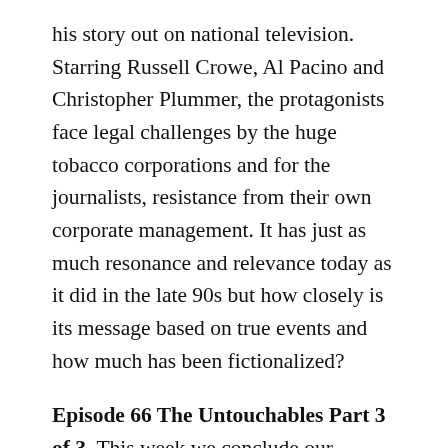his story out on national television. Starring Russell Crowe, Al Pacino and Christopher Plummer, the protagonists face legal challenges by the huge tobacco corporations and for the journalists, resistance from their own corporate management. It has just as much resonance and relevance today as it did in the late 90s but how closely is its message based on true events and how much has been fictionalized?
Episode 66 The Untouchables Part 3 of 3. This week we conclude our examination of The Untouchables, wrapping up the movie but also looking at how the legends of Eliot Ness and Al Capone have grown in popular culture. Much of